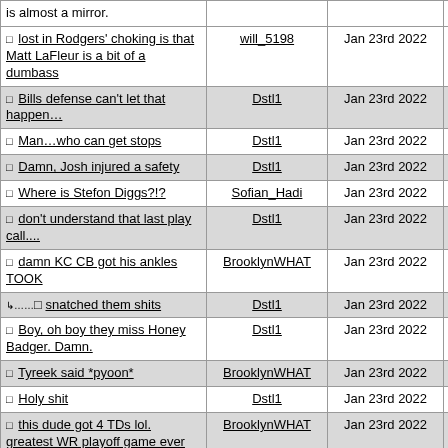| □ lost in Rodgers' choking is that Matt LaFleur is a bit of a dumbass | will_5198 | Jan 23rd 2022 | 189 |
| □ Bills defense can't let that happen… | Dstl1 | Jan 23rd 2022 | 194 |
| □ Man…who can get stops | Dstl1 | Jan 23rd 2022 | 195 |
| □ Damn, Josh injured a safety | Dstl1 | Jan 23rd 2022 | 197 |
| □ Where is Stefon Diggs?!? | Sofian_Hadi | Jan 23rd 2022 | 198 |
| □ don't understand that last play call.... | Dstl1 | Jan 23rd 2022 | 199 |
| □ damn KC CB got his ankles TOOK | BrooklynWHAT | Jan 23rd 2022 | 200 |
| ↳……□ snatched them shits | Dstl1 | Jan 23rd 2022 | 202 |
| □ Boy, oh boy they miss Honey Badger. Damn. | Dstl1 | Jan 23rd 2022 | 201 |
| □ Tyreek said *pyoon* | BrooklynWHAT | Jan 23rd 2022 | 203 |
| □ Holy shit | Dstl1 | Jan 23rd 2022 | 204 |
| □ this dude got 4 TDs lol. greatest WR playoff game ever | BrooklynWHAT | Jan 23rd 2022 | 205 |
| □ Chiefs defense got big boyed down the field. | Dstl1 | Jan 23rd 2022 | 206 |
| □ Greatest PO game ever by a wide receiver… | allStah | Jan 23rd 2022 | 207 |